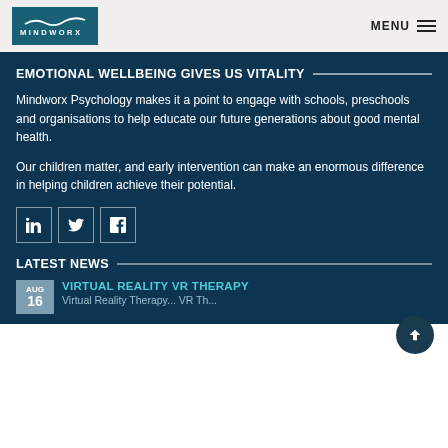[Figure (logo): Mindworx logo with teal background and white wave mark above text MINDWORX]
MENU
EMOTIONAL WELLBEING GIVES US VITALITY
Mindworx Psychology makes it a point to engage with schools, preschools and organisations to help educate our future generations about good mental health.
Our children matter, and early intervention can make an enormous difference in helping children achieve their potential.
[Figure (infographic): Social media icons: LinkedIn, Twitter, Facebook in bordered square boxes]
LATEST NEWS
AUG 16
VIRTUAL REALITY VR THERAPY
Virtual Reality Therapy... VR Th...